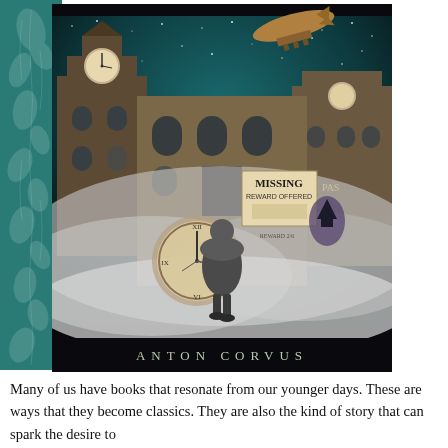[Figure (illustration): Book cover for a novel by Anton Corvus. Dark background with a Victorian-style collage: clock tower buildings, starry teal sky, a dirigible/airship, a figure in a long coat walking away through fog/mist, a pocket watch, a 'MISSING REWARD OFFERED' poster, playing card ace of spades, and other scattered elements. Author name 'ANTON CORVUS' appears at the bottom in spaced lettering. Left side has a teal decorative panel with floral/leaf pattern.]
Many of us have books that resonate from our younger days. These are ways that they become classics. They are also the kind of story that can spark the desire to